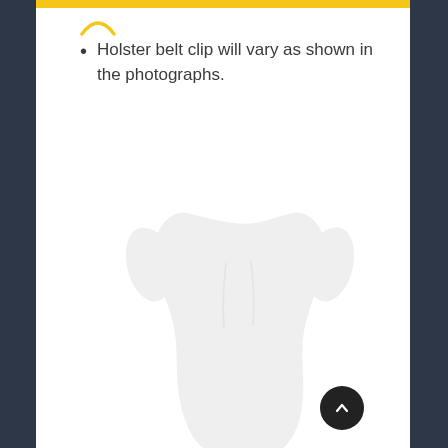Holster belt clip will vary as shown in the photographs.
[Figure (photo): Faded/watermark photo of a gun holster product shown from the front, very light gray tones on white background]